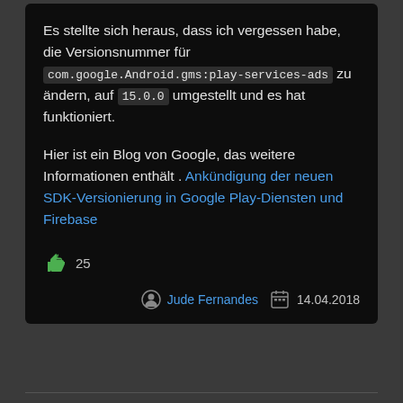Es stellte sich heraus, dass ich vergessen habe, die Versionsnummer für com.google.Android.gms:play-services-ads zu ändern, auf 15.0.0 umgestellt und es hat funktioniert.
Hier ist ein Blog von Google, das weitere Informationen enthält . Ankündigung der neuen SDK-Versionierung in Google Play-Diensten und Firebase
25
Jude Fernandes   14.04.2018
apply plugin: 'com.google.gms.google-services'
stelle es unter diese Linie.